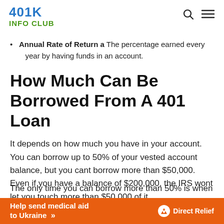401K INFO CLUB
Annual Rate of Return a The percentage earned every year by having funds in an account.
How Much Can Be Borrowed From A 401 Loan
It depends on how much you have in your account. You can borrow up to 50% of your vested account balance, but you cant borrow more than $50,000. Even if you have a balance of $200,000, the IRS wont let you touch more than $50,000 of it.
The only time you can borrow more than 50% is when you
[Figure (other): Orange advertisement banner: Help send medical aid to Ukraine >> with Direct Relief logo on the right]